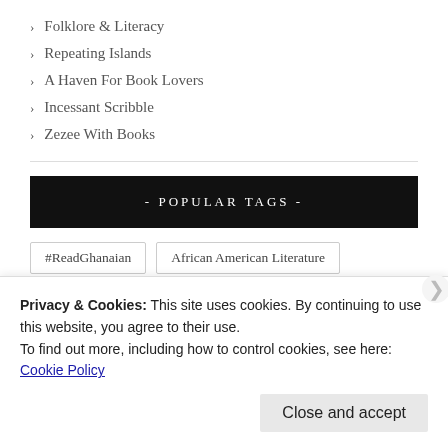> Folklore & Literacy
> Repeating Islands
> A Haven For Book Lovers
> Incessant Scribble
> Zezee With Books
- POPULAR TAGS -
#ReadGhanaian
African American Literature
African Literature
African Women Writers
Privacy & Cookies: This site uses cookies. By continuing to use this website, you agree to their use.
To find out more, including how to control cookies, see here:
Cookie Policy
Close and accept